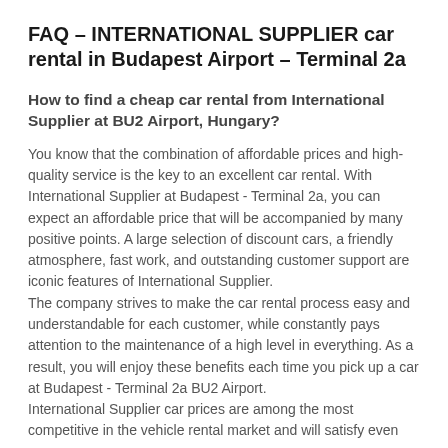FAQ – INTERNATIONAL SUPPLIER car rental in Budapest Airport – Terminal 2a
How to find a cheap car rental from International Supplier at BU2 Airport, Hungary?
You know that the combination of affordable prices and high-quality service is the key to an excellent car rental. With International Supplier at Budapest - Terminal 2a, you can expect an affordable price that will be accompanied by many positive points. A large selection of discount cars, a friendly atmosphere, fast work, and outstanding customer support are iconic features of International Supplier.
The company strives to make the car rental process easy and understandable for each customer, while constantly pays attention to the maintenance of a high level in everything. As a result, you will enjoy these benefits each time you pick up a car at Budapest - Terminal 2a BU2 Airport.
International Supplier car prices are among the most competitive in the vehicle rental market and will satisfy even